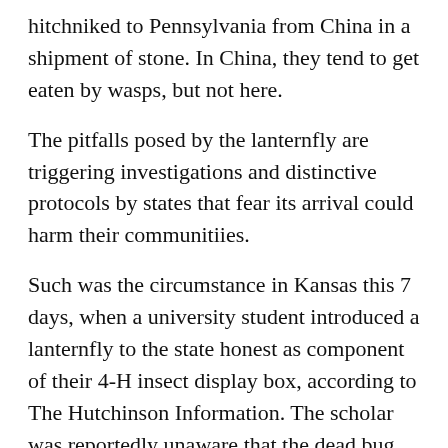hitchniked to Pennsylvania from China in a shipment of stone. In China, they tend to get eaten by wasps, but not here.
The pitfalls posed by the lanternfly are triggering investigations and distinctive protocols by states that fear its arrival could harm their communitiies.
Such was the circumstance in Kansas this 7 days, when a university student introduced a lanternfly to the state honest as component of their 4-H insect display box, according to The Hutchinson Information. The scholar was reportedly unaware that the dead bug was an invasive species, and a decide at the fair had to report it to the USDA's Animal and Plant Health and fitness Inspection Assistance.
In July, California established a quarantine order to assist prevent the introduction of the noticed